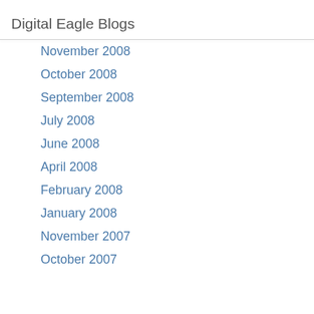Digital Eagle Blogs
November 2008
October 2008
September 2008
July 2008
June 2008
April 2008
February 2008
January 2008
November 2007
October 2007